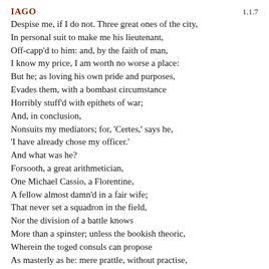IAGO
1.1.7
Despise me, if I do not. Three great ones of the city,
In personal suit to make me his lieutenant,
Off-capp'd to him: and, by the faith of man,
I know my price, I am worth no worse a place:
But he; as loving his own pride and purposes,
Evades them, with a bombast circumstance
Horribly stuff'd with epithets of war;
And, in conclusion,
Nonsuits my mediators; for, 'Certes,' says he,
'I have already chose my officer.'
And what was he?
Forsooth, a great arithmetician,
One Michael Cassio, a Florentine,
A fellow almost damn'd in a fair wife;
That never set a squadron in the field,
Nor the division of a battle knows
More than a spinster; unless the bookish theoric,
Wherein the toged consuls can propose
As masterly as he: mere prattle, without practise,
Is all his soldiership. But he, sir, had the election:
And I, of whom his eyes had seen the proof
At Rhodes, at Cyprus and on other grounds
Christian and heathen, must be be-lee'd and calm'd
By debitor and creditor: this counter-caster,